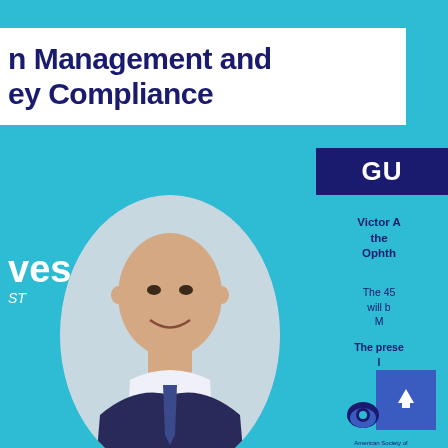n Management and ey Compliance
GU
Victor A the Ophth
The 45 will b M
The prese l
[Figure (photo): Headshot of a smiling bald man in a dark suit and tie, in an oval frame]
ves
ST
[Figure (logo): American Society of Ophthalmic Registered Nurses eye logo with text]